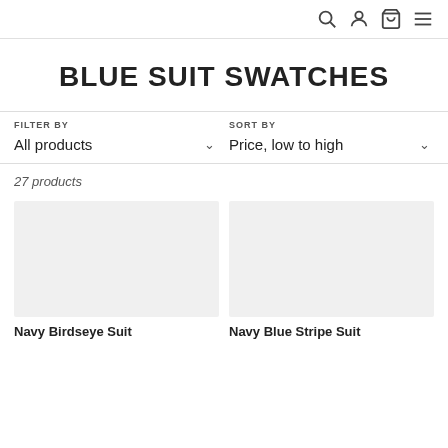[search] [account] [cart] [menu]
BLUE SUIT SWATCHES
FILTER BY
All products
SORT BY
Price, low to high
27 products
[Figure (photo): Product image placeholder for Navy Birdseye Suit swatch]
Navy Birdseye Suit
[Figure (photo): Product image placeholder for Navy Blue Stripe Suit swatch]
Navy Blue Stripe Suit